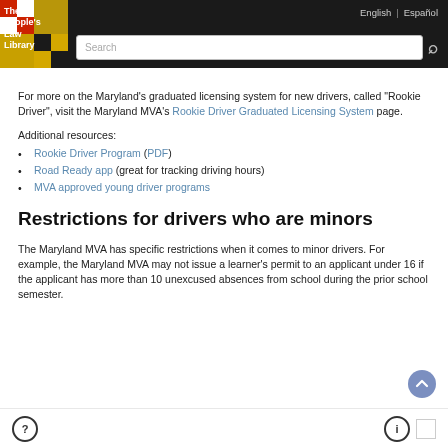The People's Law Library | English | Español
For more on the Maryland's graduated licensing system for new drivers, called "Rookie Driver", visit the Maryland MVA's Rookie Driver Graduated Licensing System page.
Additional resources:
Rookie Driver Program (PDF)
Road Ready app (great for tracking driving hours)
MVA approved young driver programs
Restrictions for drivers who are minors
The Maryland MVA has specific restrictions when it comes to minor drivers. For example, the Maryland MVA may not issue a learner's permit to an applicant under 16 if the applicant has more than 10 unexcused absences from school during the prior school semester.